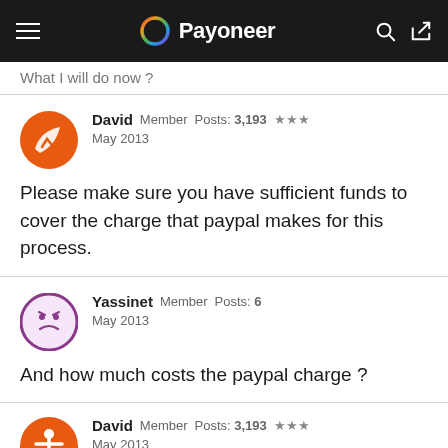Payoneer
What I will do now ?
David  Member  Posts: 3,193  ★★★  May 2013
Please make sure you have sufficient funds to cover the charge that paypal makes for this process.
Yassinet  Member  Posts: 6  May 2013
And how much costs the paypal charge ?
David  Member  Posts: 3,193  ★★★  May 2013